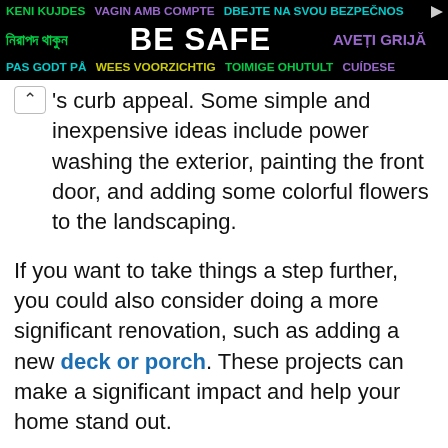[Figure (infographic): Multilingual 'BE SAFE' advertisement banner with black background. Row 1: 'KENI KUJDES' (green), 'VAGIN AMB COMPTE' (purple), 'DBEJTE NA SVOU BEZPECNOS' (cyan). Row 2: Bengali text in green on left, 'BE SAFE' in large white bold text in center, 'AVETI GRIJA' in purple on right. Row 3: 'PAS GODT PÅ' (cyan), 'WEES VOORZICHTIG' (yellow), 'TOIMIGE OHUTULT' (green), 'CUÍDESE' (purple). Small arrow/ad icon in top right corner.]
's curb appeal. Some simple and inexpensive ideas include power washing the exterior, painting the front door, and adding some colorful flowers to the landscaping.
If you want to take things a step further, you could also consider doing a more significant renovation, such as adding a new deck or porch. These projects can make a significant impact and help your home stand out.
No matter what you do, improving your curb appeal is sure to pay off when it comes time to sell. Potential